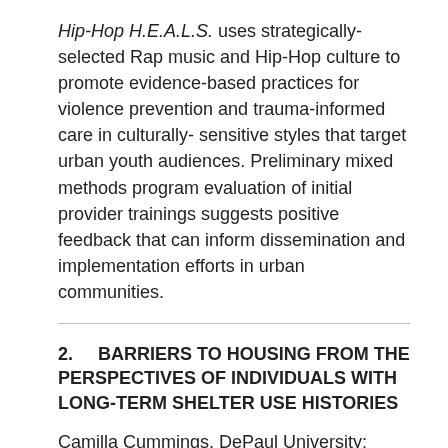Hip-Hop H.E.A.L.S. uses strategically-selected Rap music and Hip-Hop culture to promote evidence-based practices for violence prevention and trauma-informed care in culturally- sensitive styles that target urban youth audiences. Preliminary mixed methods program evaluation of initial provider trainings suggests positive feedback that can inform dissemination and implementation efforts in urban communities.
2.    BARRIERS TO HOUSING FROM THE PERSPECTIVES OF INDIVIDUALS WITH LONG-TERM SHELTER USE HISTORIES
Camilla Cummings, DePaul University; Molly Brown, DePaul University
There is limited research on barriers to housing among long-term homeless shelter stayers (LTSS). This qualitative study of 19 LTSS identified 12 themes describing barriers to housing across ecological levels. Findings have implications for programs to better serve this subset of the